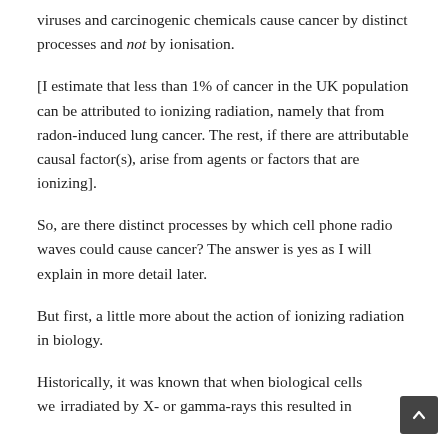viruses and carcinogenic chemicals cause cancer by distinct processes and not by ionisation.
[I estimate that less than 1% of cancer in the UK population can be attributed to ionizing radiation, namely that from radon-induced lung cancer. The rest, if there are attributable causal factor(s), arise from agents or factors that are ionizing].
So, are there distinct processes by which cell phone radio waves could cause cancer? The answer is yes as I will explain in more detail later.
But first, a little more about the action of ionizing radiation in biology.
Historically, it was known that when biological cells were irradiated by X- or gamma-rays this resulted in